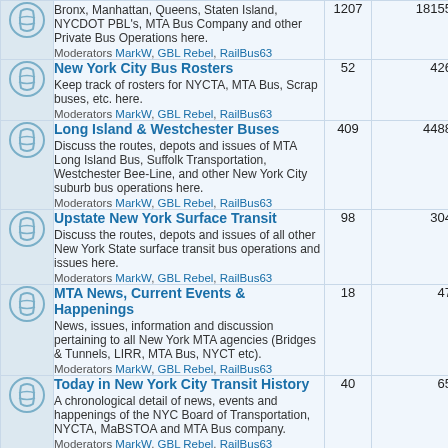|  | Forum | Topics | Posts |
| --- | --- | --- | --- |
| [icon] | Bronx, Manhattan, Queens, Staten Island, NYCDOT PBL's, MTA Bus Company and other Private Bus Operations here.
Moderators MarkW, GBL Rebel, RailBus63 | 1207 | 18155 |
| [icon] | New York City Bus Rosters
Keep track of rosters for NYCTA, MTA Bus, Scrap buses, etc. here.
Moderators MarkW, GBL Rebel, RailBus63 | 52 | 426 |
| [icon] | Long Island & Westchester Buses
Discuss the routes, depots and issues of MTA Long Island Bus, Suffolk Transportation, Westchester Bee-Line, and other New York City suburb bus operations here.
Moderators MarkW, GBL Rebel, RailBus63 | 409 | 4488 |
| [icon] | Upstate New York Surface Transit
Discuss the routes, depots and issues of all other New York State surface transit bus operations and issues here.
Moderators MarkW, GBL Rebel, RailBus63 | 98 | 304 |
| [icon] | MTA News, Current Events & Happenings
News, issues, information and discussion pertaining to all New York MTA agencies (Bridges & Tunnels, LIRR, MTA Bus, NYCT etc).
Moderators MarkW, GBL Rebel, RailBus63 | 18 | 47 |
| [icon] | Today in New York City Transit History
A chronological detail of news, events and happenings of the NYC Board of Transportation, NYCTA, MaBSTOA and MTA Bus company.
Moderators MarkW, GBL Rebel, RailBus63 | 40 | 65 |
| SECTION | Surface Transportation Worldwide |  |  |
| [icon] | Transit Bus Manufacturers
Discuss the various issues and topics pertaining to Transit Bus Manufacturers- foreign, domestic, present | 364 | 2818 |